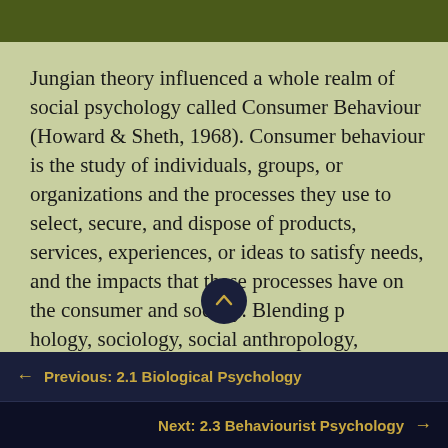Jungian theory influenced a whole realm of social psychology called Consumer Behaviour (Howard & Sheth, 1968). Consumer behaviour is the study of individuals, groups, or organizations and the processes they use to select, secure, and dispose of products, services, experiences, or ideas to satisfy needs, and the impacts that these processes have on the consumer and society. Blending psychology, sociology, social anthropology, marketing, and
← Previous: 2.1 Biological Psychology
Next: 2.3 Behaviourist Psychology →